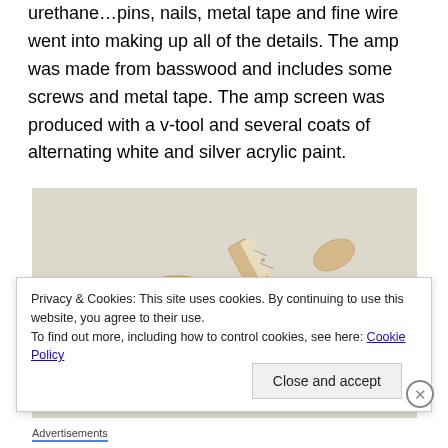urethane…pins, nails, metal tape and fine wire went into making up all of the details. The amp was made from basswood and includes some screws and metal tape. The amp screen was produced with a v-tool and several coats of alternating white and silver acrylic paint.
[Figure (photo): A wooden electric guitar body and neck laid out on a white surface, partially assembled, showing natural wood grain. Small wood shavings and hardware pieces visible nearby.]
Privacy & Cookies: This site uses cookies. By continuing to use this website, you agree to their use.
To find out more, including how to control cookies, see here: Cookie Policy
Close and accept
Advertisements